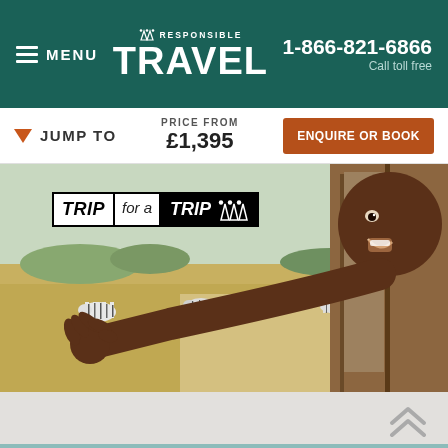RESPONSIBLE TRAVEL | 1-866-821-6866 | Call toll free | MENU
JUMP TO | PRICE FROM £1,395 | ENQUIRE OR BOOK
[Figure (photo): Child waving from a vehicle window beside zebras on an African safari landscape. Overlay reads TRIP for a TRIP with person icons.]
RECENTLY VIEWED
.IDAY